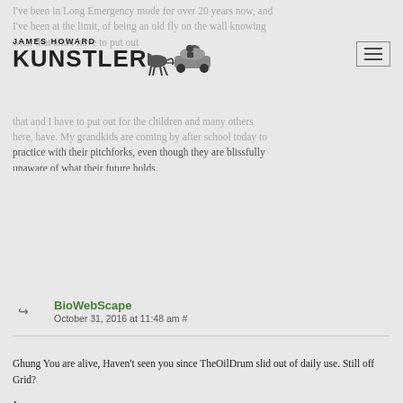JAMES HOWARD KUNSTLER
I've been in Long Emergency mode for over 20 years now, and I've been at the limit, of being an old fly on the wall knowing what that and I have to put out for the children and many others here, have. My grandkids are coming by after school today to practice with their pitchforks, even though they are blissfully unaware of what their future holds.
BioWebScape
October 31, 2016 at 11:48 am #
Ghung You are alive, Haven't seen you since TheOilDrum slid out of daily use. Still off Grid?

James,

As you can see I have been around a while, having had parents that grew up during the Depression, I was always in a mild Prepping for another bad decade habit. I Don't like Trump, have already voted, and though maybe my state will side with him, no one I know is keen on him, even if they are (fetuses shouldn't be killed , as they are people too, side of things). But History is still there for people to have looked at all these years, and we aren't going to get out of strife, bad weather, poor climate, or the generally ughy future.